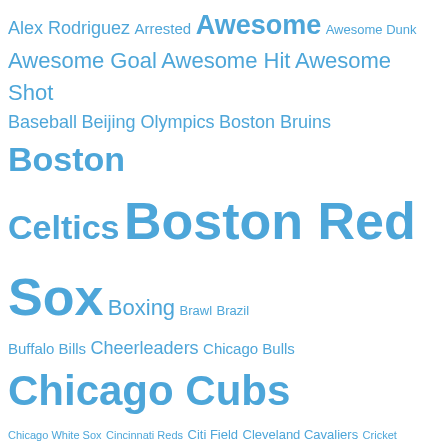[Figure (infographic): Tag cloud of sports and entertainment topics in blue, with font size indicating frequency/importance. Tags include: Alex Rodriguez, Arrested, Awesome, Awesome Dunk, Awesome Goal, Awesome Hit, Awesome Shot, Baseball, Beijing Olympics, Boston Bruins, Boston Celtics, Boston Red Sox, Boxing, Brawl, Brazil, Buffalo Bills, Cheerleaders, Chicago Bulls, Chicago Cubs, Chicago White Sox, Cincinnati Reds, Citi Field, Cleveland Cavaliers, Cricket, Dallas Cowboys, David Ortiz, Denver Broncos, Derek Jeter, Detroit Lions, Doppelgangers, Douches, Dustin Pedroia, ESPN, Fenway Park, Florida Marlins, Gisele Bundchen, Hot Women, Jose Canseco, Kansas City Royals, Kobe Bryant, Lebron James, Lingerie Football League, Los Angeles Dodgers, Los Angeles Lakers, Manny Ramirez, Milwaukee Brewers, Minka Kelly, Minnesota Vikings, MMA, Nascar, New England Patriots, New Jersey Nets]